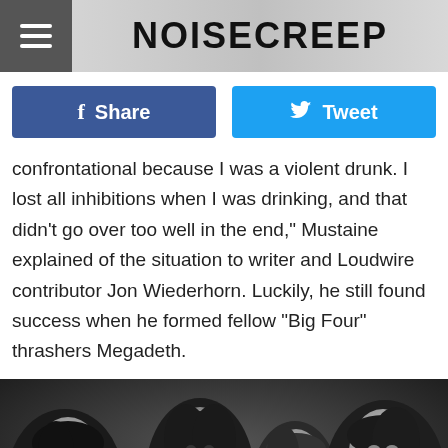NOISECREEP
Share
Tweet
confrontational because I was a violent drunk. I lost all inhibitions when I was drinking, and that didn't go over too well in the end," Mustaine explained of the situation to writer and Loudwire contributor Jon Wiederhorn. Luckily, he still found success when he formed fellow "Big Four" thrashers Megadeth.
[Figure (photo): Black and white photograph of a band, showing four young people with long hair looking at the camera.]